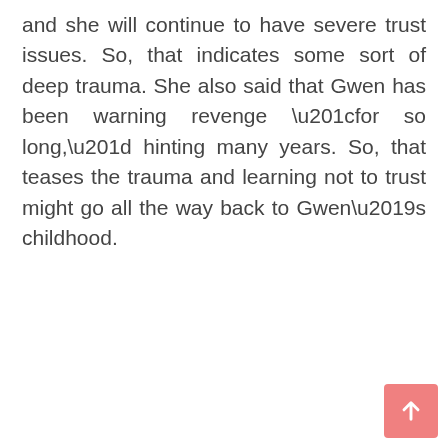and she will continue to have severe trust issues. So, that indicates some sort of deep trauma. She also said that Gwen has been warning revenge “for so long,” hinting many years. So, that teases the trauma and learning not to trust might go all the way back to Gwen’s childhood.